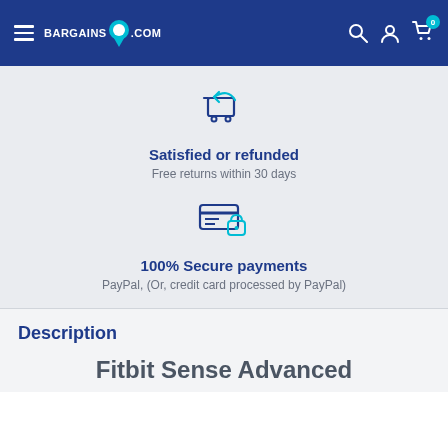[Figure (screenshot): BargainsSpot.com navigation header with hamburger menu, logo, search, account, and cart icons on dark blue background]
[Figure (illustration): Shopping cart with return arrow icon in dark blue outline style]
Satisfied or refunded
Free returns within 30 days
[Figure (illustration): Credit card with lock icon in dark blue and teal outline style]
100% Secure payments
PayPal, (Or, credit card processed by PayPal)
Description
Fitbit Sense Advanced